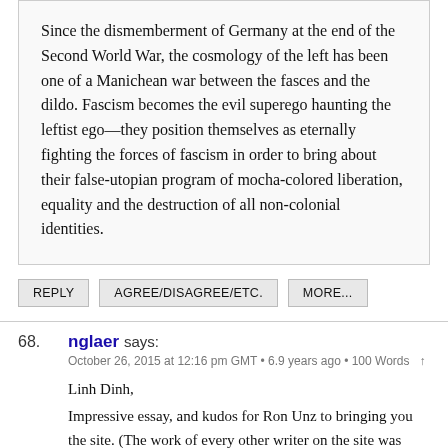Since the dismemberment of Germany at the end of the Second World War, the cosmology of the left has been one of a Manichean war between the fasces and the dildo. Fascism becomes the evil superego haunting the leftist ego—they position themselves as eternally fighting the forces of fascism in order to bring about their false-utopian program of mocha-colored liberation, equality and the destruction of all non-colonial identities.
REPLY
AGREE/DISAGREE/ETC.
MORE...
68. nglaer says:
October 26, 2015 at 12:16 pm GMT • 6.9 years ago • 100 Words ↑
Linh Dinh,
Impressive essay, and kudos for Ron Unz to bringing you the site. (The work of every other writer on the site was previously known to me). My sense is that you exaggerate German self-hate a bit. (I was there for a week in August for a wedding,